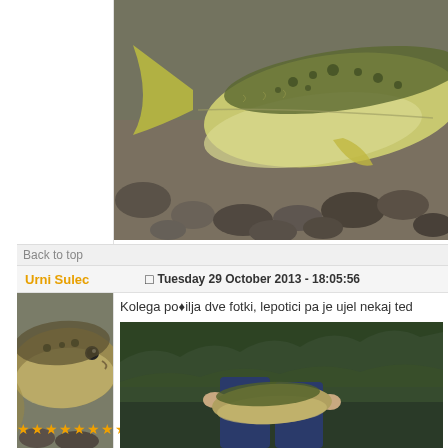[Figure (photo): Close-up photo of a fish (appears to be a trout or similar freshwater fish) on rocky riverbed, showing the tail and body]
lp
Spuscajmo Avtohtone ribe!
Back to top
Urni Sulec
Tuesday 29 October 2013 - 18:05:56
[Figure (photo): Photo of a large fish (trout) held close to camera]
Kolega pošilja dve fotki, lepotici pa je ujel nekaj ted
[Figure (photo): Photo showing person's legs/jeans outdoors near vegetation]
★★★★★★★★